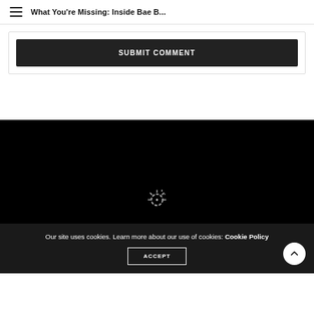What You're Missing: Inside Bae B...
SUBMIT COMMENT
[Figure (screenshot): Dark/black section with a loading spinner icon]
Our site uses cookies. Learn more about our use of cookies: Cookie Policy
ACCEPT